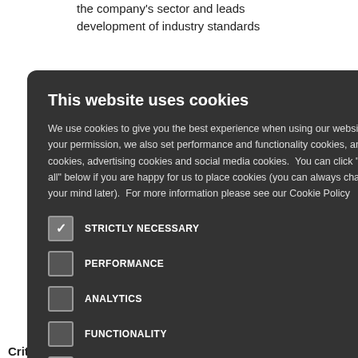the company's sector and leads development of industry standards
[Figure (screenshot): Cookie consent modal dialog with dark background. Title: 'This website uses cookies'. Body text explaining cookie usage. Checkboxes for: STRICTLY NECESSARY (checked), PERFORMANCE (unchecked), ANALYTICS (unchecked), FUNCTIONALITY (unchecked), SOCIAL MEDIA (unchecked). Close button (×) in top right.]
oal Compact
hemes for CEO
tices
oo pasó a ser el
ncioens de
as (RRC)
ctivities that the
COP to fulfill
metrics, and
Criterion 21: The COP describes stakeholder